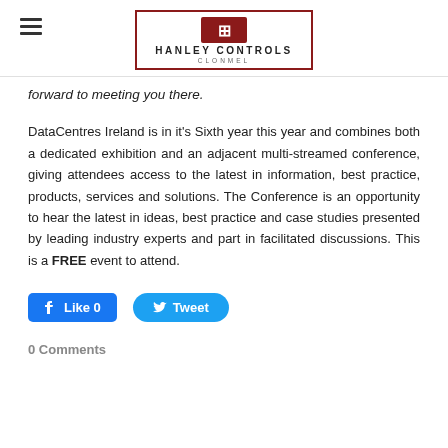[Figure (logo): Hanley Controls Clonmel logo with red box border and stylized H icon]
forward to meeting you there.
DataCentres Ireland is in it's Sixth year this year and combines both a dedicated exhibition and an adjacent multi-streamed conference, giving attendees access to the latest in information, best practice, products, services and solutions. The Conference is an opportunity to hear the latest in ideas, best practice and case studies presented by leading industry experts and part in facilitated discussions. This is a FREE event to attend.
[Figure (infographic): Social media buttons: Facebook Like (0) and Twitter Tweet]
0 Comments